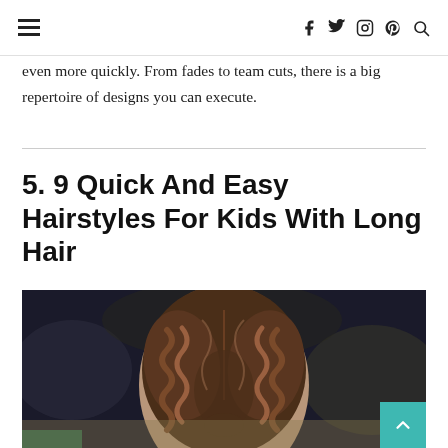≡  f  𝕥  ◎  𝕡  🔍
even more quickly. From fades to team cuts, there is a big repertoire of designs you can execute.
5. 9 Quick And Easy Hairstyles For Kids With Long Hair
[Figure (photo): Back view of a child with long hair styled in French braids, outdoors with blurred background.]